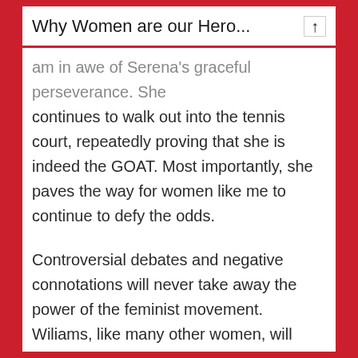Why Women are our Hero...
am in awe of Serena's graceful perseverance. She continues to walk out into the tennis court, repeatedly proving that she is indeed the GOAT. Most importantly, she paves the way for women like me to continue to defy the odds.
Controversial debates and negative connotations will never take away the power of the feminist movement. Wiliams, like many other women, will continue to be walking proof that we can excel in anything that we do.